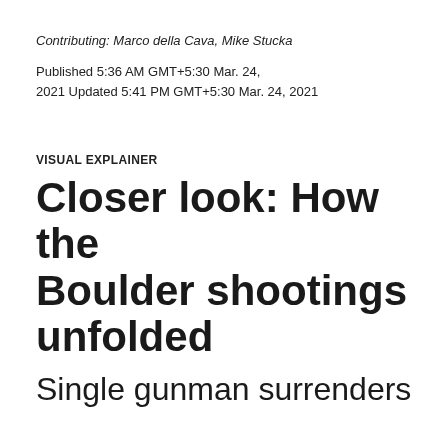Contributing: Marco della Cava, Mike Stucka
Published 5:36 AM GMT+5:30 Mar. 24, 2021 Updated 5:41 PM GMT+5:30 Mar. 24, 2021
VISUAL EXPLAINER
Closer look: How the Boulder shootings unfolded
Single gunman surrenders